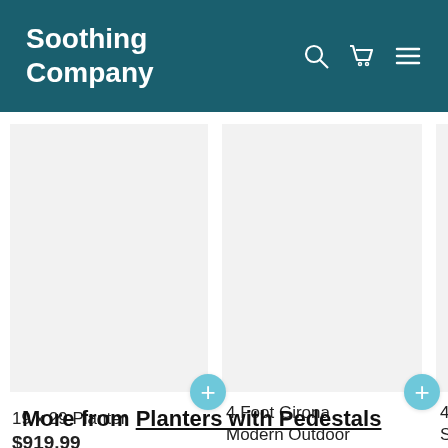Soothing Company
[Figure (screenshot): Product card for 19 x 29 Planter with quick-add button]
19 x 29 Planter
$919.99
[Figure (screenshot): Product card for 4 Foot Girona Modern Outdoor Garden Fountain with quick-add button]
4 Foot Girona Modern Outdoor Garden Fountain
$4,249.99
4 Har Sand
$1,20
More from Planters with Pedestals